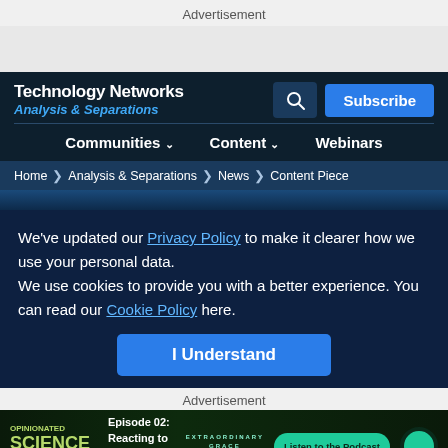Advertisement
Technology Networks Analysis & Separations
Communities Content Webinars
Home > Analysis & Separations > News > Content Piece
We've updated our Privacy Policy to make it clearer how we use your personal data.
We use cookies to provide you with a better experience. You can read our Cookie Policy here.
I Understand
Advertisement
[Figure (screenshot): Advertisement banner for Opinionated Science podcast, Episode 02: Reacting to Bias in STEM, with a Listen to the Podcast button]